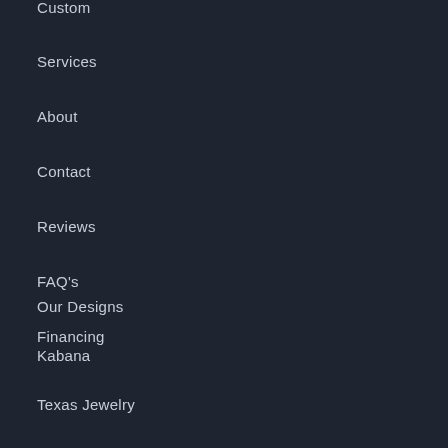Custom
Services
About
Contact
Reviews
FAQ's
Financing
Our Designs
Kabana
Texas Jewelry
Concho Pearls